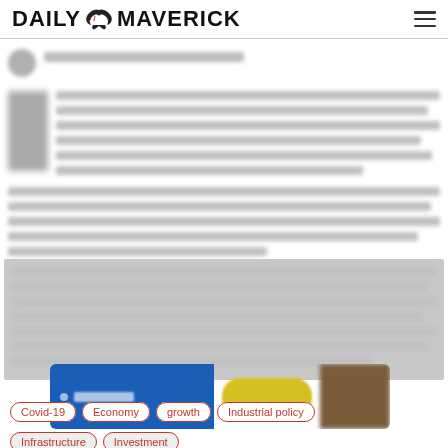DAILY MAVERICK
[Figure (screenshot): Blurred article content area showing a Daily Maverick news article with author avatar, drop cap text, body text paragraphs, and an advertisement banner with blue background and yellow button.]
Covid-19
Economy
growth
Industrial policy